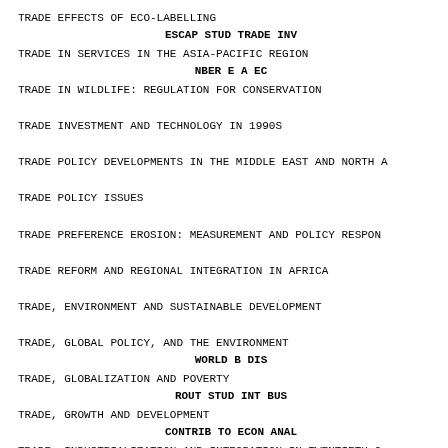TRADE EFFECTS OF ECO-LABELLING
ESCAP STUD TRADE INV
TRADE IN SERVICES IN THE ASIA-PACIFIC REGION
NBER E A EC
TRADE IN WILDLIFE: REGULATION FOR CONSERVATION
TRADE INVESTMENT AND TECHNOLOGY IN 1990S
TRADE POLICY DEVELOPMENTS IN THE MIDDLE EAST AND NORTH A
TRADE POLICY ISSUES
TRADE PREFERENCE EROSION: MEASUREMENT AND POLICY RESPON
TRADE REFORM AND REGIONAL INTEGRATION IN AFRICA
TRADE, ENVIRONMENT AND SUSTAINABLE DEVELOPMENT
TRADE, GLOBAL POLICY, AND THE ENVIRONMENT
WORLD B DIS
TRADE, GLOBALIZATION AND POVERTY
ROUT STUD INT BUS
TRADE, GROWTH AND DEVELOPMENT
CONTRIB TO ECON ANAL
TRADE, INDUSTRIALIZATION AND INTEGRATION IN TWENTIETH-C
TRADE, INTEGRATION AND ECONOMIC DEVELOPMENT: THE EU AND
SCH OST GES EUROPA
TRADE, INVESTMENT AND THE ENVIRONMENT